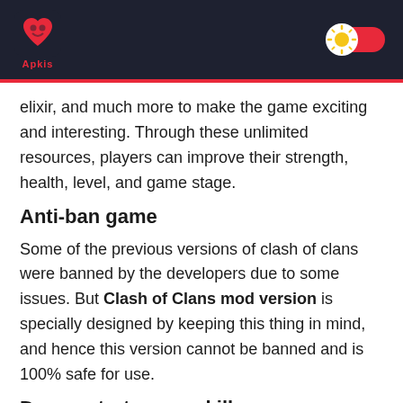Apkis
elixir, and much more to make the game exciting and interesting. Through these unlimited resources, players can improve their strength, health, level, and game stage.
Anti-ban game
Some of the previous versions of clash of clans were banned by the developers due to some issues. But Clash of Clans mod version is specially designed by keeping this thing in mind, and hence this version cannot be banned and is 100% safe for use.
Demonstrate your skills
In a clash of clans pro apk, you can choose your abilities. Thus customized features make you able to unlock the characters you want. There is always a need for resources to get unlock